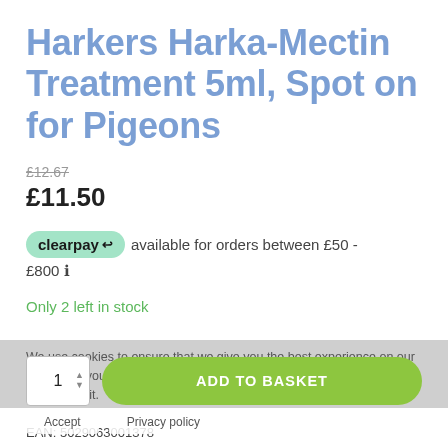Harkers Harka-Mectin Treatment 5ml, Spot on for Pigeons
£12.67 (strikethrough)
£11.50
clearpay available for orders between £50 - £800 ℹ
Only 2 left in stock
We use cookies to ensure that we give you the best experience on our website. If you continue to use this site we will assume that you are happy with it.
ADD TO BASKET
Accept  Privacy policy
EAN: 5029063001378